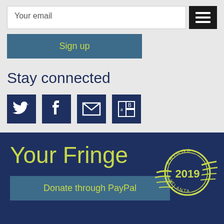Your email
Sign up
Stay connected
[Figure (illustration): Social media icons: Twitter, Facebook, Email, and a font/text icon, each in a dark navy square]
Your Fringe
[Figure (illustration): Yellow circular postage stamp with '2019' in center and 'FRINGE' text around it, with speed lines, giving a winged stamp appearance]
Donate through PayPal